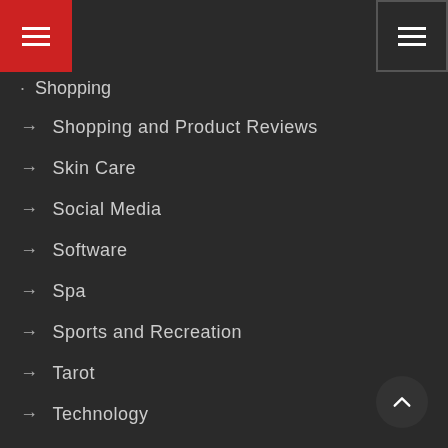[Figure (screenshot): Red hamburger menu icon button in top-left corner]
[Figure (screenshot): Dark hamburger menu icon button in top-right corner]
· Shopping
→ Shopping and Product Reviews
→ Skin Care
→ Social Media
→ Software
→ Spa
→ Sports and Recreation
→ Tarot
→ Technology
→ Techwear
→ Tips
→ Tools
→ Tourism
→ Trading
→ Travel & Leisure